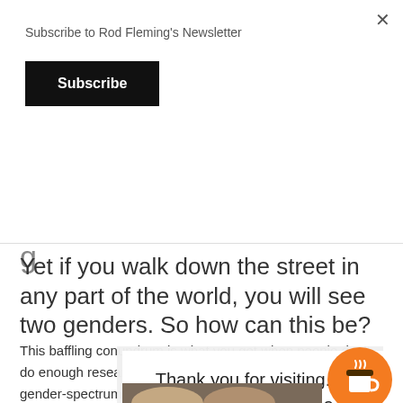Subscribe to Rod Fleming's Newsletter
Subscribe
Yet if you walk down the street in any part of the world, you will see two genders. So how can this be?
This baffling conundrum is what you get when people don't do enough research. In fact, BOTH the binary model and the gender-spectrum model are valid; but their relations
Thank you for visiting. You can now buy me a coffee!
[Figure (photo): Partial photo of a person visible at bottom of page]
[Figure (illustration): Orange circular coffee cup icon button in bottom right corner]